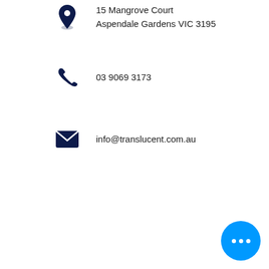15 Mangrove Court
Aspendale Gardens VIC 3195
03 9069 3173
info@translucent.com.au
[Figure (other): Blue circular button with three white dots (more options / chat button) in bottom-right corner]